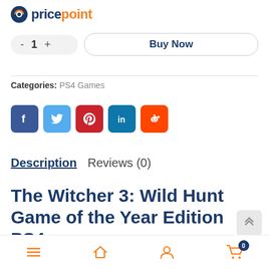pricepoint
[Figure (screenshot): Quantity selector row with minus, 1, plus buttons and Buy Now button]
Categories: PS4 Games
[Figure (infographic): Social sharing icons: Facebook, Twitter, Pinterest, LinkedIn, Reddit]
Description   Reviews (0)
The Witcher 3: Wild Hunt Game of the Year Edition PS4
Bottom navigation bar with menu, home, user, and cart (0) icons